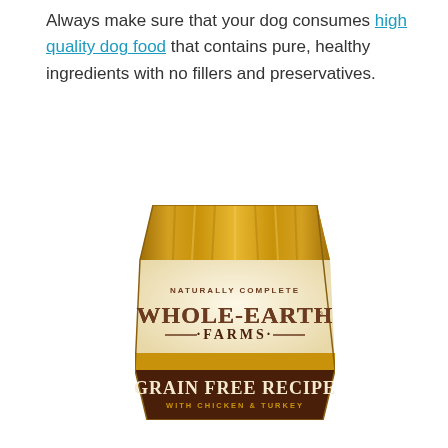Always make sure that your dog consumes high quality dog food that contains pure, healthy ingredients with no fillers and preservatives.
[Figure (photo): Whole-Earth Farms dog food bag - Naturally Complete, Grain Free Recipe with Chicken & Turkey, gold/cream/brown colored bag]